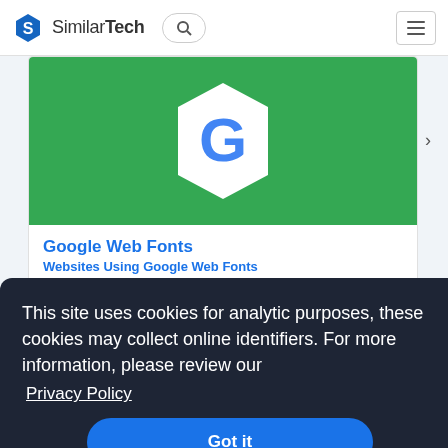SimilarTech
[Figure (screenshot): Google Web Fonts card with green banner showing Google hexagon logo, title 'Google Web Fonts', subtitle 'Websites Using Google Web Fonts', and partial description text]
Google Web Fonts
Websites Using Google Web Fonts
Google's hosted library for web fonts. Allows websites to
This site uses cookies for analytic purposes, these cookies may collect online identifiers. For more information, please review our Privacy Policy
Got it